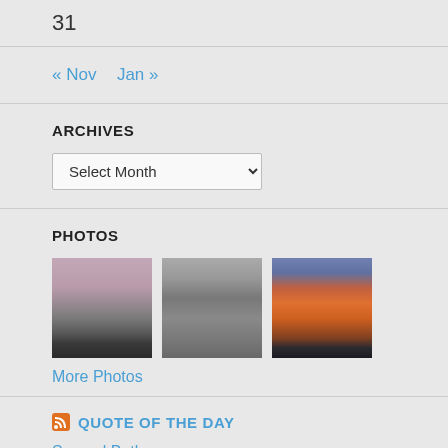31
« Nov   Jan »
ARCHIVES
Select Month
PHOTOS
[Figure (photo): Three thumbnail photos: winter pond with bare trees and pinkish sky; snowy branches close-up in gray tones; colorful sunset with orange and purple clouds]
More Photos
QUOTE OF THE DAY
Samuel Butler